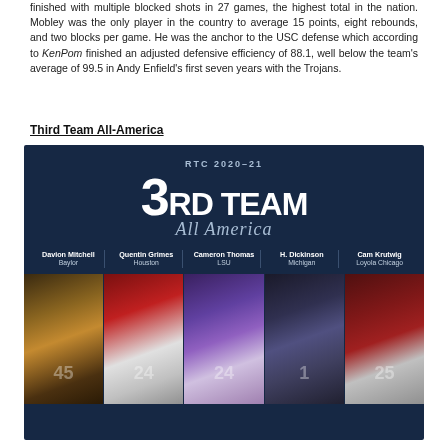finished with multiple blocked shots in 27 games, the highest total in the nation. Mobley was the only player in the country to average 15 points, eight rebounds, and two blocks per game. He was the anchor to the USC defense which according to KenPom finished an adjusted defensive efficiency of 88.1, well below the team's average of 99.5 in Andy Enfield's first seven years with the Trojans.
Third Team All-America
[Figure (infographic): RTC 2020-21 3RD TEAM All America graphic with dark navy background showing five players: Davion Mitchell (Baylor), Quentin Grimes (Houston), Cameron Thomas (LSU), H. Dickinson (Michigan), Cam Krutwig (Loyola Chicago). Below their names are action photos of each player.]